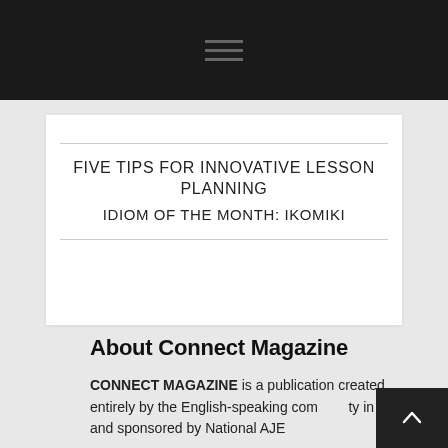Navigation menu (hamburger icon)
FIVE TIPS FOR INNOVATIVE LESSON PLANNING
IDIOM OF THE MONTH: IKOMIKI
About Connect Magazine
CONNECT MAGAZINE is a publication created entirely by the English-speaking community in Japan, and sponsored by National AJE